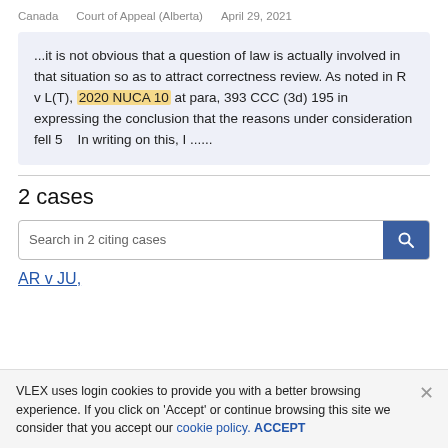Canada   Court of Appeal (Alberta)   April 29, 2021
...it is not obvious that a question of law is actually involved in that situation so as to attract correctness review. As noted in R v L(T), 2020 NUCA 10 at para, 393 CCC (3d) 195 in expressing the conclusion that the reasons under consideration fell 5    In writing on this, I ......
2 cases
Search in 2 citing cases
AR v JU,
VLEX uses login cookies to provide you with a better browsing experience. If you click on 'Accept' or continue browsing this site we consider that you accept our cookie policy.  ACCEPT